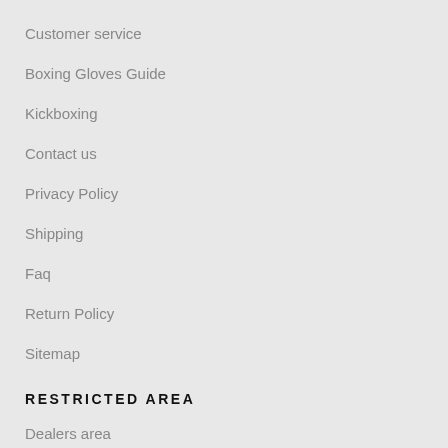Customer service
Boxing Gloves Guide
Kickboxing
Contact us
Privacy Policy
Shipping
Faq
Return Policy
Sitemap
RESTRICTED AREA
Dealers area